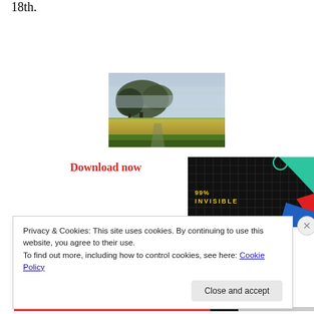18th.
[Figure (photo): A misty outdoor landscape with trees and yellow wildflowers in the foreground, foggy sky in the background.]
Download now
[Figure (photo): 99% Invisible podcast cover art on a dark background with colorful shapes.]
Privacy & Cookies: This site uses cookies. By continuing to use this website, you agree to their use.
To find out more, including how to control cookies, see here: Cookie Policy
Close and accept